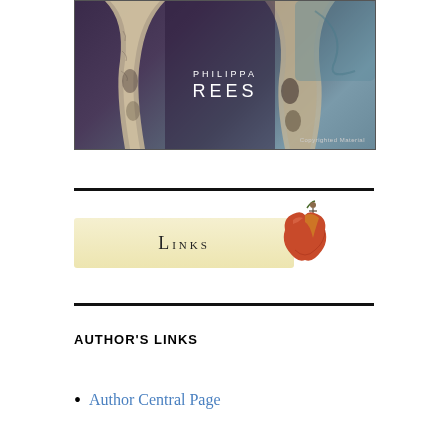[Figure (illustration): Book cover image with dark purple/teal background showing abstract shapes or bones, with author name PHILIPPA REES in white letters and 'Copyrighted Material' watermark at bottom.]
[Figure (illustration): Links banner: a cream/tan colored banner with the text 'Links' in small-caps serif font, and a decorative apple illustration with a small figure on top to the right.]
AUTHOR'S LINKS
Author Central Page